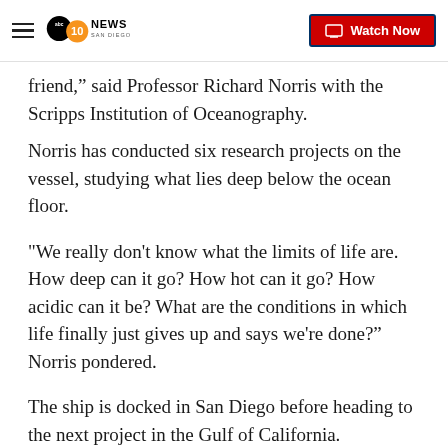10News San Diego | Watch Now
friend,” said Professor Richard Norris with the Scripps Institution of Oceanography.
Norris has conducted six research projects on the vessel, studying what lies deep below the ocean floor.
"We really don't know what the limits of life are. How deep can it go? How hot can it go? How acidic can it be? What are the conditions in which life finally just gives up and says we're done?” Norris pondered.
The ship is docked in San Diego before heading to the next project in the Gulf of California.